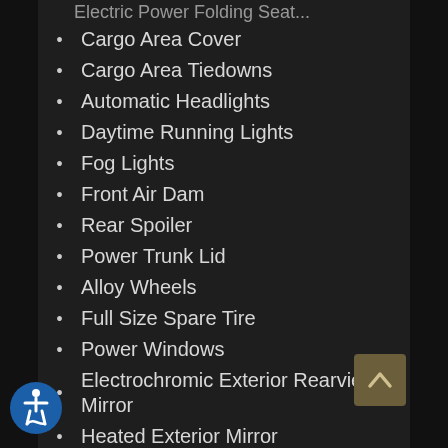Cargo Area Cover
Cargo Area Tiedowns
Automatic Headlights
Daytime Running Lights
Fog Lights
Front Air Dam
Rear Spoiler
Power Trunk Lid
Alloy Wheels
Full Size Spare Tire
Power Windows
Electrochromic Exterior Rearview Mirror
Heated Exterior Mirror
Electrochromic Interior Rearview Mirror
Power Adjustable Exterior Mirror
Deep Tinted Glass
Interval Wipers
Rear Window Defogger
Rear Wi...